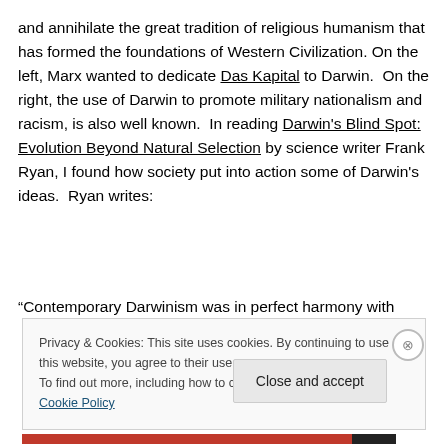and annihilate the great tradition of religious humanism that has formed the foundations of Western Civilization. On the left, Marx wanted to dedicate Das Kapital to Darwin. On the right, the use of Darwin to promote military nationalism and racism, is also well known. In reading Darwin's Blind Spot: Evolution Beyond Natural Selection by science writer Frank Ryan, I found how society put into action some of Darwin's ideas. Ryan writes:
“Contemporary Darwinism was in perfect harmony with
Privacy & Cookies: This site uses cookies. By continuing to use this website, you agree to their use.
To find out more, including how to control cookies, see here: Cookie Policy
Close and accept